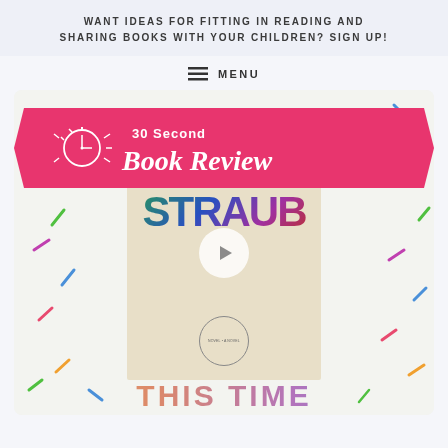WANT IDEAS FOR FITTING IN READING AND SHARING BOOKS WITH YOUR CHILDREN? SIGN UP!
≡ MENU
[Figure (photo): A '30 Second Book Review' banner graphic overlaid on a colorful book cover for 'Emma Straub' (New York Times Bestseller) with a play button in the center, set against a confetti-patterned background. At the bottom, partial text reads 'THIS TIME'.]